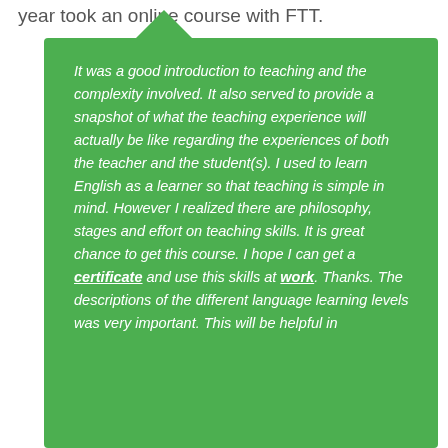year took an online course with FTT.
It was a good introduction to teaching and the complexity involved. It also served to provide a snapshot of what the teaching experience will actually be like regarding the experiences of both the teacher and the student(s). I used to learn English as a learner so that teaching is simple in mind. However I realized there are philosophy, stages and effort on teaching skills. It is great chance to get this course. I hope I can get a certificate and use this skills at work. Thanks. The descriptions of the different language learning levels was very important. This will be helpful in